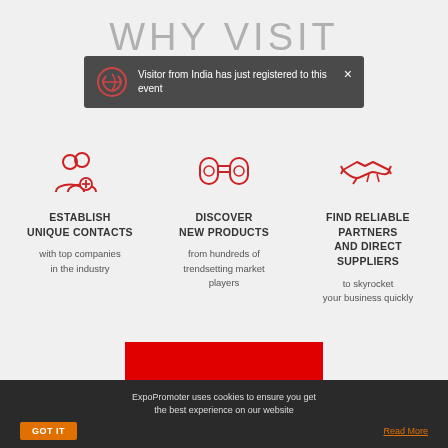WHY VISIT
[Figure (screenshot): Notification popup: spinning icon with text 'Visitor from India has just registered to this event' on dark background with X close button]
[Figure (illustration): Red outline icon of two people with a plus sign (add contacts)]
ESTABLISH UNIQUE CONTACTS
with top companies in the industry
[Figure (illustration): Red outline icon of binoculars (discover)]
DISCOVER NEW PRODUCTS
from hundreds of trendsetting market players
[Figure (illustration): Red outline icon of handshake (partners)]
FIND RELIABLE PARTNERS AND DIRECT SUPPLIERS
to skyrocket your business quickly
[Figure (illustration): Red rectangular banner button at bottom]
ExpoPromoter uses cookies to ensure you get the best experience on our website
GOT IT
Read More